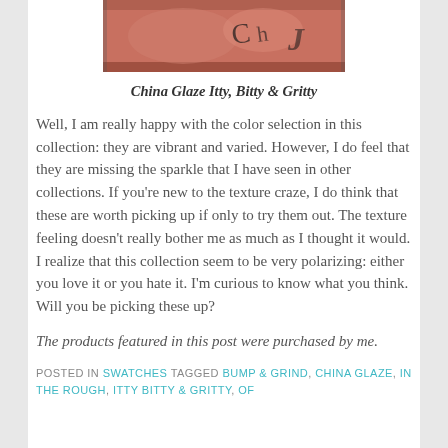[Figure (photo): Close-up photo of a coral/salmon colored nail polish bottle with China Glaze branding visible]
China Glaze Itty, Bitty & Gritty
Well, I am really happy with the color selection in this collection: they are vibrant and varied. However, I do feel that they are missing the sparkle that I have seen in other collections. If you're new to the texture craze, I do think that these are worth picking up if only to try them out. The texture feeling doesn't really bother me as much as I thought it would. I realize that this collection seem to be very polarizing: either you love it or you hate it. I'm curious to know what you think. Will you be picking these up?
The products featured in this post were purchased by me.
POSTED IN SWATCHES TAGGED BUMP & GRIND, CHINA GLAZE, IN THE ROUGH, ITTY BITTY & GRITTY, OF